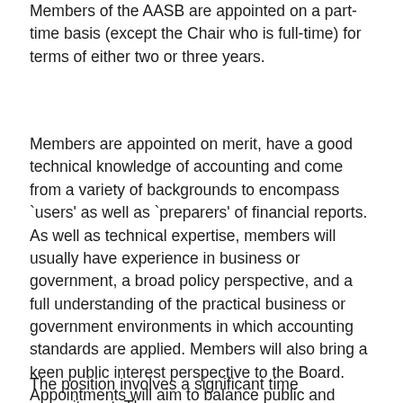Members of the AASB are appointed on a part-time basis (except the Chair who is full-time) for terms of either two or three years.
Members are appointed on merit, have a good technical knowledge of accounting and come from a variety of backgrounds to encompass `users' as well as `preparers' of financial reports. As well as technical expertise, members will usually have experience in business or government, a broad policy perspective, and a full understanding of the practical business or government environments in which accounting standards are applied. Members will also bring a keen public interest perspective to the Board. Appointments will aim to balance public and private sector expertise and also take gender considerations into account.
The position involves a significant time commitment. The